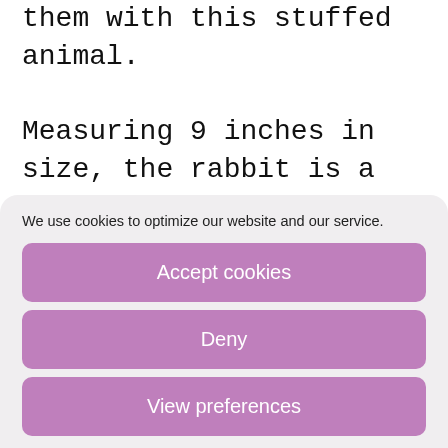them with this stuffed animal.

Measuring 9 inches in size, the rabbit is a toy-sized replica of the movie character. It makes an amazing addition to your child’s daytime imaginations. In fact, your
We use cookies to optimize our website and our service.
Accept cookies
Deny
View preferences
Cookie Policy   Privacy Policy